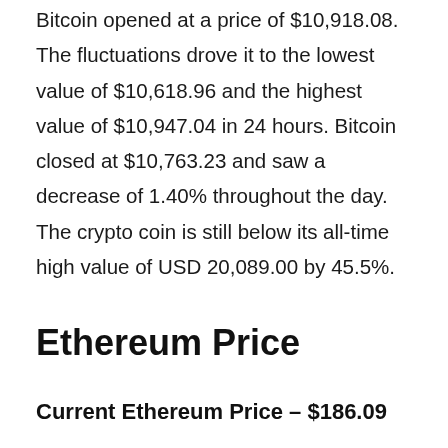Bitcoin opened at a price of $10,918.08. The fluctuations drove it to the lowest value of $10,618.96 and the highest value of $10,947.04 in 24 hours. Bitcoin closed at $10,763.23 and saw a decrease of 1.40% throughout the day. The crypto coin is still below its all-time high value of USD 20,089.00 by 45.5%.
Ethereum Price
Current Ethereum Price – $186.09
Ethereum opened at $202.81. The fluctuations drove it to the lowest value of $195.62 and the